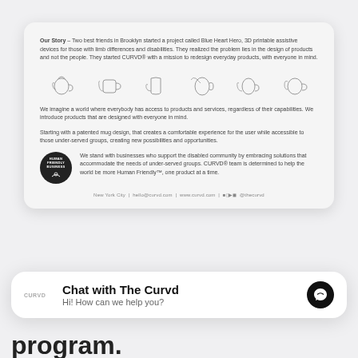Our Story - Two best friends in Brooklyn started a project called Blue Heart Hero, 3D printable assistive devices for those with limb differences and disabilities. They realized the problem lies in the design of products and not the people. They started CURVD® with a mission to redesign everyday products, with everyone in mind.
[Figure (illustration): Row of hand-drawn line illustration icons showing various mug/cup designs being held by hands in different grips]
We imagine a world where everybody has access to products and services, regardless of their capabilities. We introduce products that are designed with everyone in mind.
Starting with a patented mug design, that creates a comfortable experience for the user while accessible to those under-served groups, creating new possibilities and opportunities.
[Figure (logo): Round dark badge reading HUMAN FRIENDLY BUSINESS with a small hand/mug icon]
We stand with businesses who support the disabled community by embracing solutions that accommodate the needs of under-served groups. CURVD® team is determined to help the world be more Human Friendly™, one product at a time.
New York City | hello@curvd.com | www.curvd.com | @thecurvd
Chat with The Curvd
Hi! How can we help you?
program.